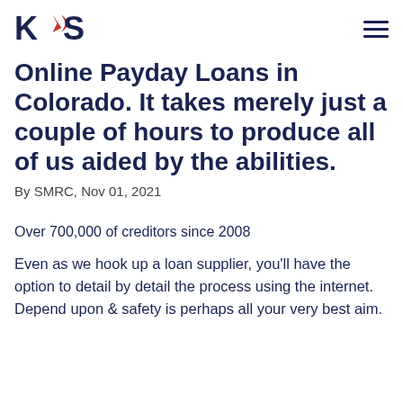KAS
Online Payday Loans in Colorado. It takes merely just a couple of hours to produce all of us aided by the abilities.
By SMRC, Nov 01, 2021
Over 700,000 of creditors since 2008
Even as we hook up a loan supplier, you'll have the option to detail by detail the process using the internet. Depend upon & safety is perhaps all your very best aim.